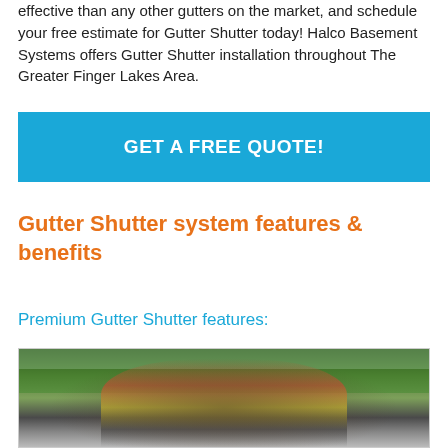effective than any other gutters on the market, and schedule your free estimate for Gutter Shutter today! Halco Basement Systems offers Gutter Shutter installation throughout The Greater Finger Lakes Area.
GET A FREE QUOTE!
Gutter Shutter system features & benefits
Premium Gutter Shutter features:
[Figure (photo): Photo of a worker in a red cap and yellow safety vest outdoors with trees in background]